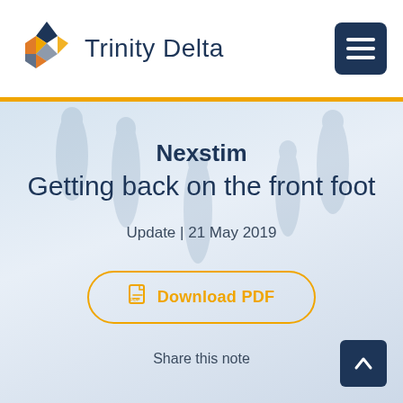[Figure (logo): Trinity Delta logo with geometric diamond/star shape in navy, gold, and orange colors, followed by text 'Trinity Delta']
Nexstim
Getting back on the front foot
Update | 21 May 2019
Download PDF
Share this note